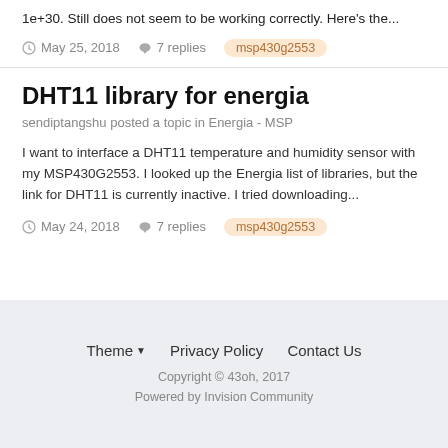1e+30. Still does not seem to be working correctly. Here's the...
May 25, 2018  7 replies  msp430g2553
DHT11 library for energia
sendiptangshu posted a topic in Energia - MSP
I want to interface a DHT11 temperature and humidity sensor with my MSP430G2553. I looked up the Energia list of libraries, but the link for DHT11 is currently inactive. I tried downloading...
May 24, 2018  7 replies  msp430g2553
Theme  Privacy Policy  Contact Us
Copyright © 43oh, 2017
Powered by Invision Community